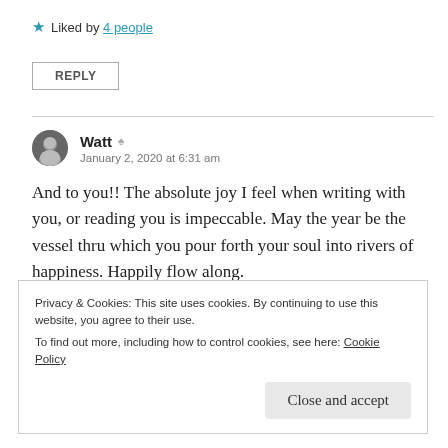★ Liked by 4 people
REPLY
Watt
January 2, 2020 at 6:31 am
And to you!! The absolute joy I feel when writing with you, or reading you is impeccable. May the year be the vessel thru which you pour forth your soul into rivers of happiness. Happily flow along.
Privacy & Cookies: This site uses cookies. By continuing to use this website, you agree to their use. To find out more, including how to control cookies, see here: Cookie Policy
Close and accept